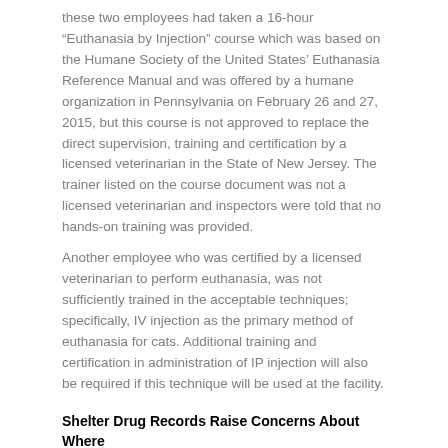these two employees had taken a 16-hour “Euthanasia by Injection” course which was based on the Humane Society of the United States’ Euthanasia Reference Manual and was offered by a humane organization in Pennsylvania on February 26 and 27, 2015, but this course is not approved to replace the direct supervision, training and certification by a licensed veterinarian in the State of New Jersey. The trainer listed on the course document was not a licensed veterinarian and inspectors were told that no hands-on training was provided.
Another employee who was certified by a licensed veterinarian to perform euthanasia, was not sufficiently trained in the acceptable techniques; specifically, IV injection as the primary method of euthanasia for cats. Additional training and certification in administration of IP injection will also be required if this technique will be used at the facility.
Shelter Drug Records Raise Concerns About Where